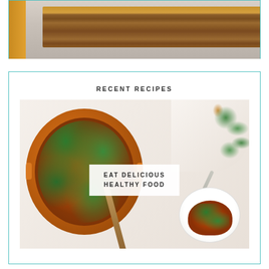[Figure (photo): Partial view of a wooden cutting board on a light background, cropped at top of page]
RECENT RECIPES
[Figure (photo): Overhead food photo showing an orange Dutch oven with pasta in tomato sauce topped with green basil leaves, a wooden spoon, a floral cloth napkin, a fork, and a white plate with a serving of the pasta dish. A white overlay box in the center reads 'EAT DELICIOUS HEALTHY FOOD'.]
EAT DELICIOUS HEALTHY FOOD